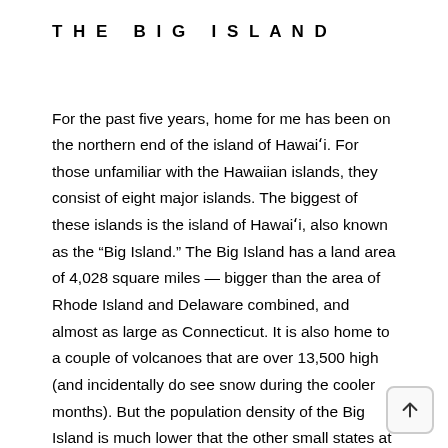THE BIG ISLAND
For the past five years, home for me has been on the northern end of the island of Hawaiʻi. For those unfamiliar with the Hawaiian islands, they consist of eight major islands. The biggest of these islands is the island of Hawaiʻi, also known as the “Big Island.” The Big Island has a land area of 4,028 square miles — bigger than the area of Rhode Island and Delaware combined, and almost as large as Connecticut. It is also home to a couple of volcanoes that are over 13,500 high (and incidentally do see snow during the cooler months). But the population density of the Big Island is much lower that the other small states at 185,000 people, versus around a million in both Rhode Island and Delaware, and 3.5 million in Connecticut.